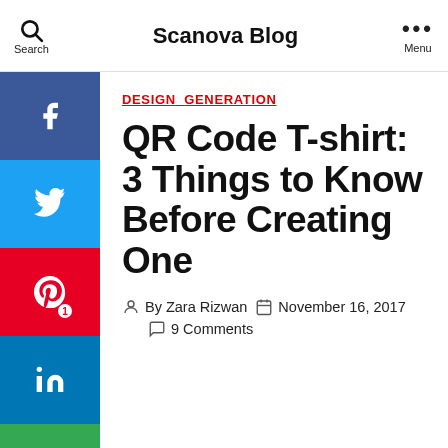Scanova Blog
DESIGN  GENERATION
QR Code T-shirt: 3 Things to Know Before Creating One
By Zara Rizwan  November 16, 2017  9 Comments